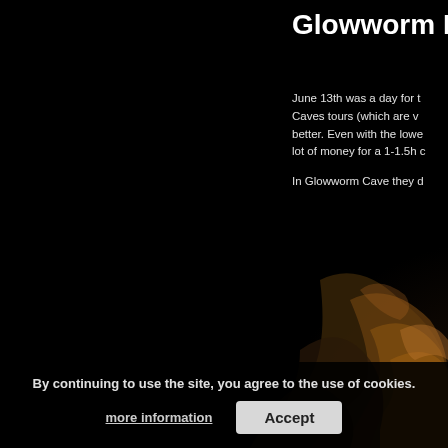[Figure (photo): Dark cave interior with rocky formations visible in the lower right, illuminated with warm golden light against a predominantly black background. The image appears to be a screenshot of a travel blog about Glowworm Caves.]
Glowworm D
June 13th was a day for the Caves tours (which are v better. Even with the lowe lot of money for a 1-1.5h c

In Glowworm Cave they d
By continuing to use the site, you agree to the use of cookies. more information Accept